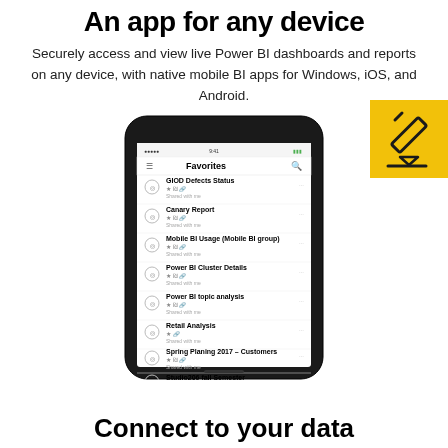An app for any device
Securely access and view live Power BI dashboards and reports on any device, with native mobile BI apps for Windows, iOS, and Android.
[Figure (screenshot): A smartphone screen showing the Power BI mobile app Favorites list with several reports listed including GIOD Defects Status, Canary Report, Mobile BI Usage (Mobile BI group), Power BI Cluster Details, Power BI topic analysis, Retail Analysis, Spring Planing 2017 – Customers, Studio206 fall Semester]
[Figure (illustration): Yellow square icon with a pencil/edit symbol in dark outline]
Connect to your data